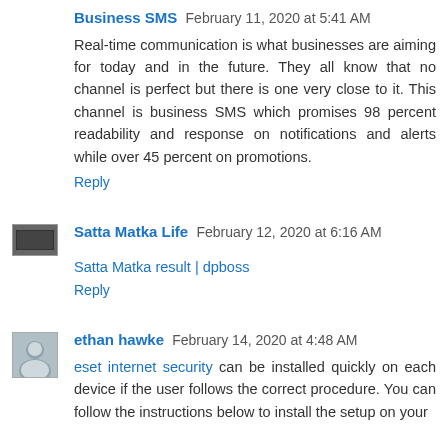Business SMS February 11, 2020 at 5:41 AM
Real-time communication is what businesses are aiming for today and in the future. They all know that no channel is perfect but there is one very close to it. This channel is business SMS which promises 98 percent readability and response on notifications and alerts while over 45 percent on promotions.
Reply
Satta Matka Life February 12, 2020 at 6:16 AM
Satta Matka result | dpboss
Reply
ethan hawke February 14, 2020 at 4:48 AM
eset internet security can be installed quickly on each device if the user follows the correct procedure. You can follow the instructions below to install the setup on your